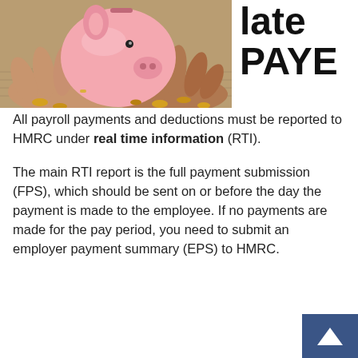[Figure (photo): Hands holding a pink piggy bank with coins scattered on a surface below]
late PAYE
All payroll payments and deductions must be reported to HMRC under real time information (RTI).
The main RTI report is the full payment submission (FPS), which should be sent on or before the day the payment is made to the employee. If no payments are made for the pay period, you need to submit an employer payment summary (EPS) to HMRC.